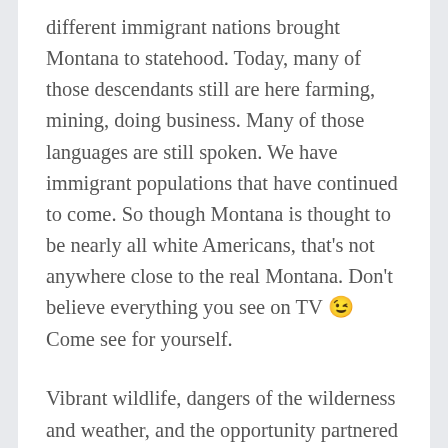different immigrant nations brought Montana to statehood. Today, many of those descendants still are here farming, mining, doing business. Many of those languages are still spoken. We have immigrant populations that have continued to come. So though Montana is thought to be nearly all white Americans, that's not anywhere close to the real Montana. Don't believe everything you see on TV 😉 Come see for yourself.
Vibrant wildlife, dangers of the wilderness and weather, and the opportunity partnered with intensely hard-working conditions created more millionaires in one place than had ever been before. But that didn't mean everyone knew how to handle that new wealth. Vigilantes, including a sheriff who robbed those he was supposed to protect, ran the ranges for years. The